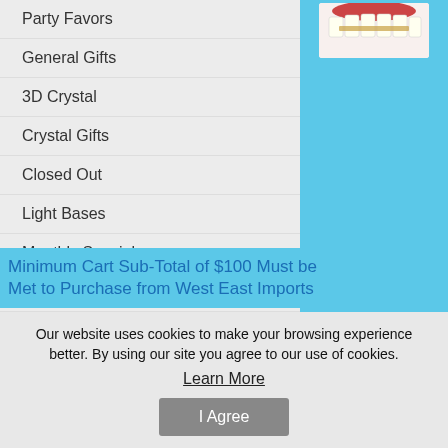Party Favors
General Gifts
3D Crystal
Crystal Gifts
Closed Out
Light Bases
Monthly Specials
Laser Engraving
Personalized Crystal
[Figure (photo): Photo of teeth/dental product with red gum area visible]
Gold St Benedict Rhines
Minimum Cart Sub-Tot
Minimum Cart Sub-Total of $100 Must be Met to Purchase from West East Imports
Our website uses cookies to make your browsing experience better. By using our site you agree to our use of cookies.
Learn More
I Agree